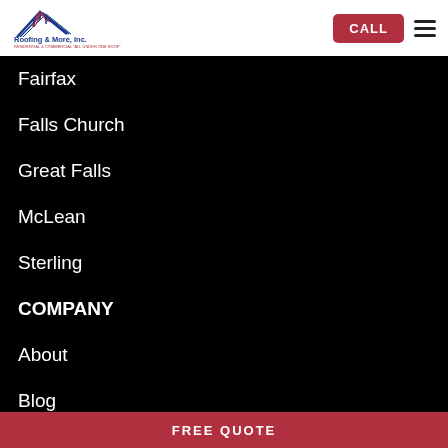[Figure (logo): Roofing & More, Inc. logo with blue and red roof graphic and text 'RESIDENTIAL & COMMERCIAL ALL UNDER ONE ROOF']
CALL | hamburger menu
Fairfax
Falls Church
Great Falls
McLean
Sterling
COMPANY
About
Blog
Offers
FREE QUOTE